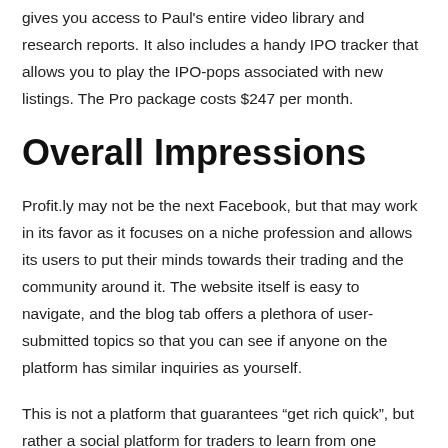gives you access to Paul's entire video library and research reports. It also includes a handy IPO tracker that allows you to play the IPO-pops associated with new listings. The Pro package costs $247 per month.
Overall Impressions
Profit.ly may not be the next Facebook, but that may work in its favor as it focuses on a niche profession and allows its users to put their minds towards their trading and the community around it. The website itself is easy to navigate, and the blog tab offers a plethora of user-submitted topics so that you can see if anyone on the platform has similar inquiries as yourself.
This is not a platform that guarantees “get rich quick”, but rather a social platform for traders to learn from one another and better understand the ever-changing financial markets. Try it out with their free plan, and if you like the platform, you can easily